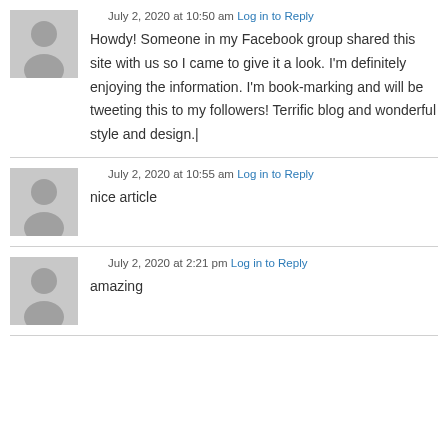July 2, 2020 at 10:50 am Log in to Reply
Howdy! Someone in my Facebook group shared this site with us so I came to give it a look. I'm definitely enjoying the information. I'm book-marking and will be tweeting this to my followers! Terrific blog and wonderful style and design.|
July 2, 2020 at 10:55 am Log in to Reply
nice article
July 2, 2020 at 2:21 pm Log in to Reply
amazing